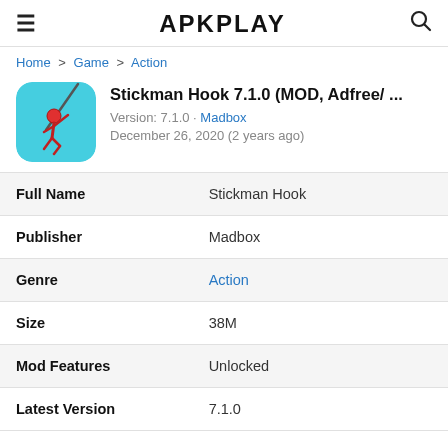APKPLAY
Home > Game > Action
[Figure (illustration): Stickman Hook app icon: red stickman figure swinging on a rope against a cyan/light blue background, rounded square shape]
Stickman Hook 7.1.0 (MOD, Adfree/ ...
Version: 7.1.0 · Madbox
December 26, 2020 (2 years ago)
| Field | Value |
| --- | --- |
| Full Name | Stickman Hook |
| Publisher | Madbox |
| Genre | Action |
| Size | 38M |
| Mod Features | Unlocked |
| Latest Version | 7.1.0 |